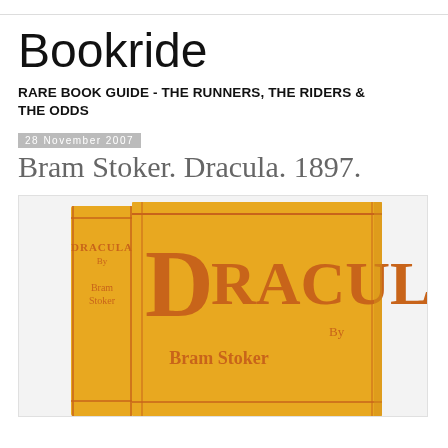Bookride
RARE BOOK GUIDE - THE RUNNERS, THE RIDERS & THE ODDS
28 November 2007
Bram Stoker. Dracula. 1897.
[Figure (photo): Photograph of the first edition of Dracula by Bram Stoker (1897), showing the spine and front cover of the yellow/orange cloth-bound book, with the title DRACULA and author Bram Stoker printed in red/orange lettering.]